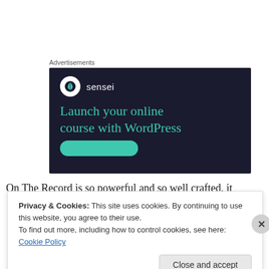Advertisements
[Figure (illustration): Sensei advertisement banner on dark navy background. Shows Sensei logo (tree icon in white circle) and brand name 'sensei', with headline 'Launch your online course with WordPress' in teal/green color, and a teal rounded button partially visible at bottom.]
On The Record is so powerful and so well crafted, it
Privacy & Cookies: This site uses cookies. By continuing to use this website, you agree to their use.
To find out more, including how to control cookies, see here: Cookie Policy